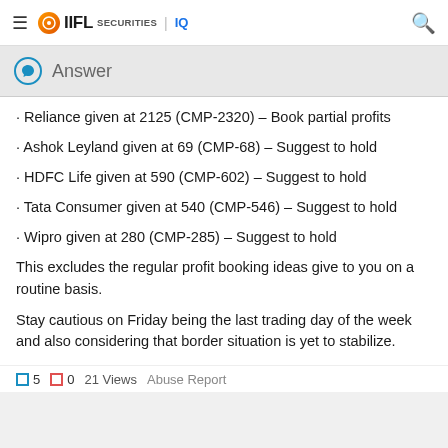IIFL Securities IQ
Answer
· Reliance given at 2125 (CMP-2320) – Book partial profits
· Ashok Leyland given at 69 (CMP-68) – Suggest to hold
· HDFC Life given at 590 (CMP-602) – Suggest to hold
· Tata Consumer given at 540 (CMP-546) – Suggest to hold
· Wipro given at 280 (CMP-285) – Suggest to hold
This excludes the regular profit booking ideas give to you on a routine basis.
Stay cautious on Friday being the last trading day of the week and also considering that border situation is yet to stabilize.
5  0  21 Views  Abuse Report